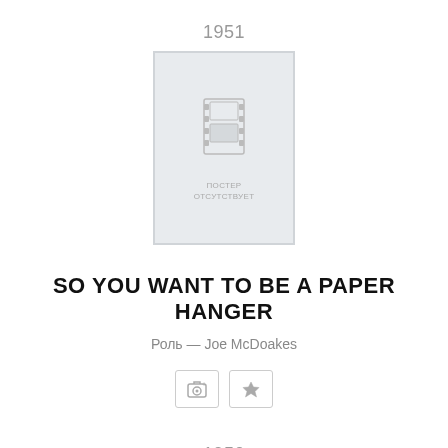1951
[Figure (illustration): Movie poster placeholder with film strip icon and Russian text 'ПОСТЕР ОТСУТСТВУЕТ' (poster absent)]
SO YOU WANT TO BE A PAPER HANGER
Роль — Joe McDoakes
[Figure (other): Two icon buttons: a camera/add photo button and a star/favorite button]
1950
[Figure (illustration): Partial movie poster placeholder at bottom of page]